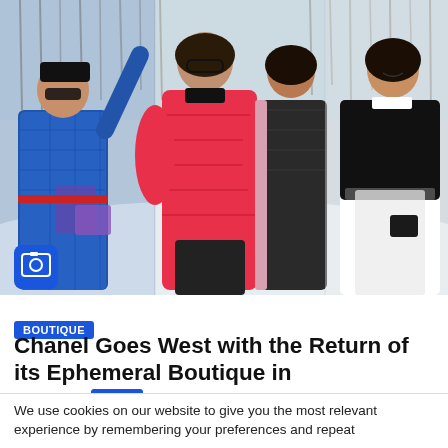[Figure (photo): Four women in winter fashion (Chanel) posing outdoors in snow. Left: woman in blue quilted suit with Chanel bag and black cap. Center-left: woman in bright red/pink puffer jacket with glasses. Center-right: woman in dark textured coat with pink fur trim. Right: woman in black-and-white Chanel outfit, smiling. Snowy trees in background. Blue camera icon badge in lower-left corner.]
BOUTIQUE
Chanel Goes West with the Return of its Ephemeral Boutique in Aspen
We use cookies on our website to give you the most relevant experience by remembering your preferences and repeat